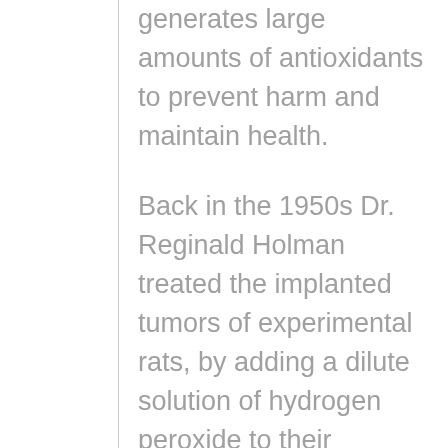generates large amounts of antioxidants to prevent harm and maintain health.
Back in the 1950s Dr. Reginald Holman treated the implanted tumors of experimental rats, by adding a dilute solution of hydrogen peroxide to their drinking water. [4] Hydrogen peroxide, an oxidant, delivers a primary redox (reduction/oxidation) signal in the body. The treatment cured more than half the rats (50-60%) within a period of two weeks to two months, with complete disappearance of the tumors. Holman